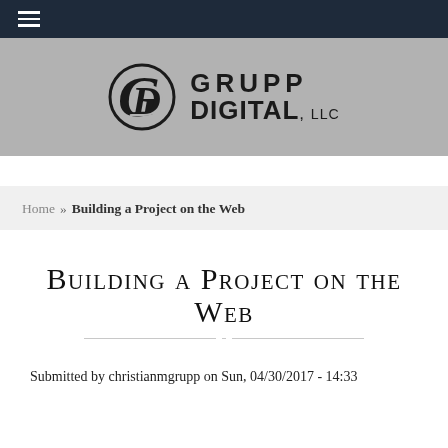[Figure (logo): Grupp Digital LLC logo with stylized GD monogram and company name in bold serif/sans text on gray banner background]
Home » Building a Project on the Web
Building a Project on the Web
Submitted by christianmgrupp on Sun, 04/30/2017 - 14:33